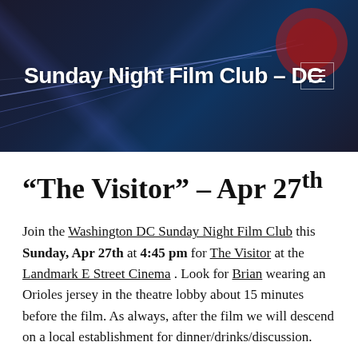Sunday Night Film Club – DC
“The Visitor” – Apr 27th
Join the Washington DC Sunday Night Film Club this Sunday, Apr 27th at 4:45 pm for The Visitor at the Landmark E Street Cinema . Look for Brian wearing an Orioles jersey in the theatre lobby about 15 minutes before the film. As always, after the film we will descend on a local establishment for dinner/drinks/discussion.
Having lost his passion for teaching and writing, 62-year-old Walter Vale (Richard Jenkins) fills the void by trying to learn to play classical piano. Sent to